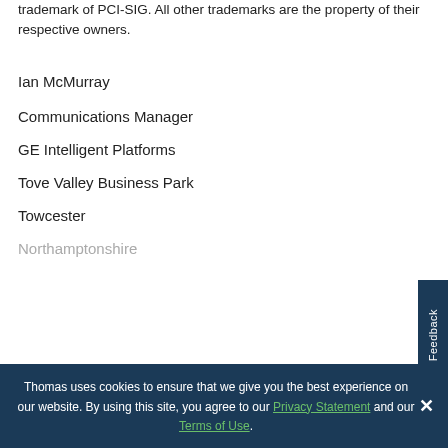trademark of PCI-SIG. All other trademarks are the property of their respective owners.
Ian McMurray
Communications Manager
GE Intelligent Platforms
Tove Valley Business Park
Towcester
Northamptonshire (partially visible)
Thomas uses cookies to ensure that we give you the best experience on our website. By using this site, you agree to our Privacy Statement and our Terms of Use.